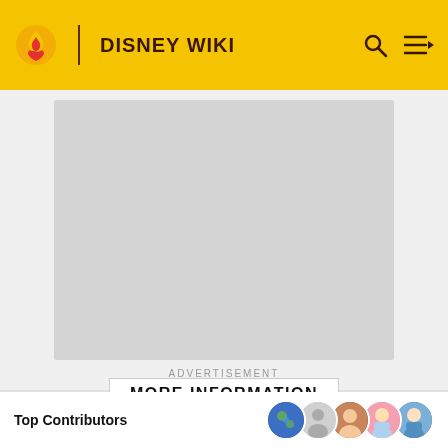DISNEY WIKI
[Figure (other): Advertisement placeholder gray box]
ADVERTISEMENT
MORE INFORMATION
Top Contributors